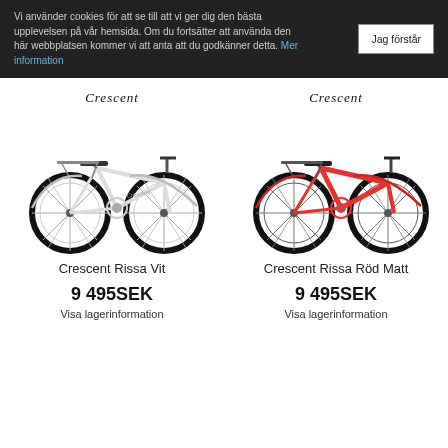Vi använder cookies för att se till att vi ger dig den bästa upplevelsen på vår hemsida. Om du fortsätter att använda den här webbplatsen kommer vi att anta att du godkänner detta. Mer information
Jag förstår
[Figure (photo): Crescent brand logo (script text) above a white city bicycle - Crescent Rissa Vit]
[Figure (photo): Crescent brand logo (script text) above a red city bicycle - Crescent Rissa Röd Matt]
Crescent Rissa Vit
Crescent Rissa Röd Matt
9 495SEK
9 495SEK
Visa lagerinformation
Visa lagerinformation